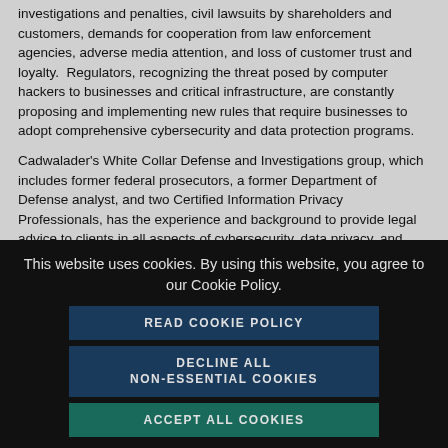investigations and penalties, civil lawsuits by shareholders and customers, demands for cooperation from law enforcement agencies, adverse media attention, and loss of customer trust and loyalty. Regulators, recognizing the threat posed by computer hackers to businesses and critical infrastructure, are constantly proposing and implementing new rules that require businesses to adopt comprehensive cybersecurity and data protection programs.
Cadwalader's White Collar Defense and Investigations group, which includes former federal prosecutors, a former Department of Defense analyst, and two Certified Information Privacy Professionals, has the experience and background to provide legal advice to clients in all aspects of cybersecurity, data privacy, and incident response. Partners have represented clients before
[Figure (screenshot): Cookie consent overlay with dark background containing cookie notice text and three buttons: READ COOKIE POLICY, DECLINE ALL NON-ESSENTIAL COOKIES, ACCEPT ALL COOKIES]